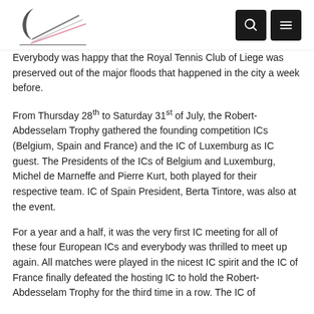Logo and navigation icons
Everybody was happy that the Royal Tennis Club of Liege was preserved out of the major floods that happened in the city a week before.
From Thursday 28th to Saturday 31st of July, the Robert-Abdesselam Trophy gathered the founding competition ICs (Belgium, Spain and France) and the IC of Luxemburg as IC guest. The Presidents of the ICs of Belgium and Luxemburg, Michel de Marneffe and Pierre Kurt, both played for their respective team. IC of Spain President, Berta Tintore, was also at the event.
For a year and a half, it was the very first IC meeting for all of these four European ICs and everybody was thrilled to meet up again. All matches were played in the nicest IC spirit and the IC of France finally defeated the hosting IC to hold the Robert-Abdesselam Trophy for the third time in a row. The IC of